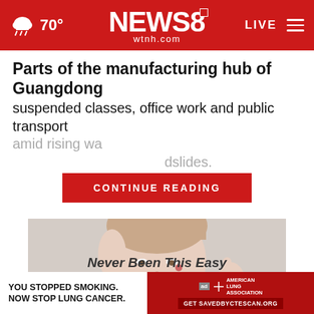70° NEWS8 wtnh.com LIVE
Parts of the manufacturing hub of Guangdong
suspended classes, office work and public transport amid rising wa... dslides.
CONTINUE READING
[Figure (photo): Woman pointing finger to cheek with a blemish, close-up portrait on light background]
Never Been This Easy
[Figure (other): Ad banner: YOU STOPPED SMOKING. NOW STOP LUNG CANCER. American Lung Association. Get SAVEDBYCTESCAN.ORG]